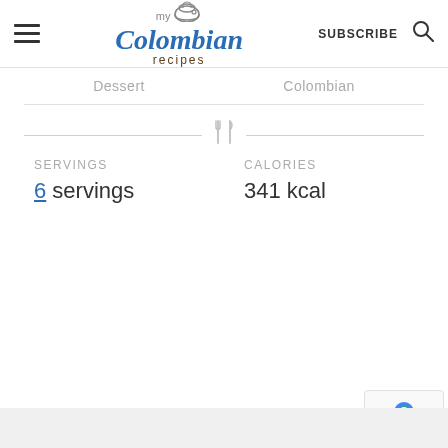[Figure (logo): My Colombian Recipes website header with hamburger menu, logo, SUBSCRIBE text, and search icon]
Dessert
Colombian
SERVINGS
6 servings
CALORIES
341 kcal